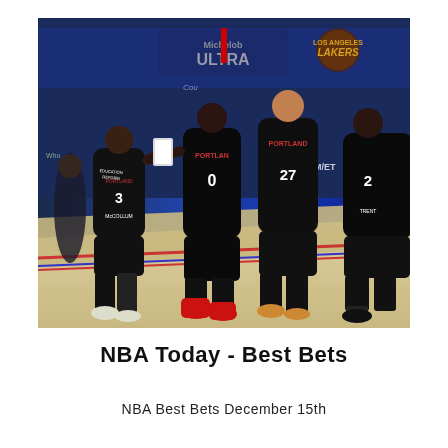[Figure (photo): Basketball players in black Portland Trail Blazers uniforms on an NBA court. Player #3 (McCollum) is high-fiving player #0 (Lillard) wearing red shoes. Player #27 stands nearby, and another player #2 (Trent) is on the right. The background shows arena signage including 'ULTRA', Lakers logo, 'PM/ET', and 'TNT'.]
NBA Today - Best Bets
NBA Best Bets December 15th